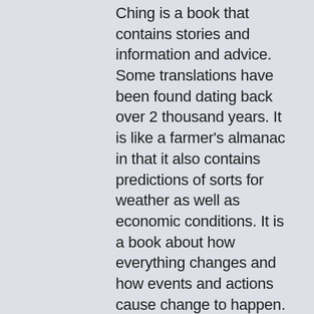Ching is a book that contains stories and information and advice. Some translations have been found dating back over 2 thousand years. It is like a farmer's almanac in that it also contains predictions of sorts for weather as well as economic conditions. It is a book about how everything changes and how events and actions cause change to happen.
Pakua is often called the Art of Change because it trains students to be changeable. Three Dragons Way uses a principle called “six nine” that represents changeability and it comes from the I-Ching. In our introduction of Pakua we will demonstrate how to use the I-Ching and how it teaches change. We will also teach some of the